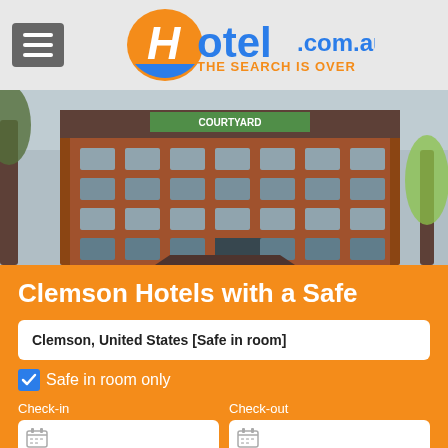[Figure (logo): Hotel.com.au logo with orange and blue H icon and tagline THE SEARCH IS OVER]
[Figure (photo): Courtyard by Marriott hotel building exterior, brick multi-story building with trees]
Clemson Hotels with a Safe
Clemson, United States [Safe in room]
Safe in room only
Check-in
Check-out
Rooms
Adults
Children